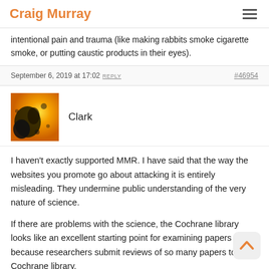Craig Murray
intentional pain and trauma (like making rabbits smoke cigarette smoke, or putting caustic products in their eyes).
September 6, 2019 at 17:02 REPLY  #46954
[Figure (photo): Avatar image for user Clark - abstract black and yellow/orange pattern]
Clark
I haven't exactly supported MMR. I have said that the way the websites you promote go about attacking it is entirely misleading. They undermine public understanding of the very nature of science.
If there are problems with the science, the Cochrane library looks like an excellent starting point for examining papers because researchers submit reviews of so many papers to the Cochrane library.